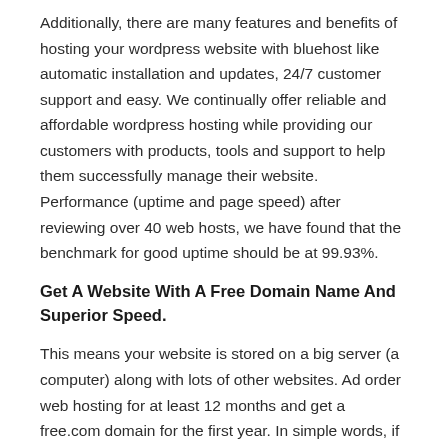Additionally, there are many features and benefits of hosting your wordpress website with bluehost like automatic installation and updates, 24/7 customer support and easy. We continually offer reliable and affordable wordpress hosting while providing our customers with products, tools and support to help them successfully manage their website. Performance (uptime and page speed) after reviewing over 40 web hosts, we have found that the benchmark for good uptime should be at 99.93%.
Get A Website With A Free Domain Name And Superior Speed.
This means your website is stored on a big server (a computer) along with lots of other websites. Ad order web hosting for at least 12 months and get a free.com domain for the first year. In simple words, if you ask me, i will give it 4.6 stars out of 5.